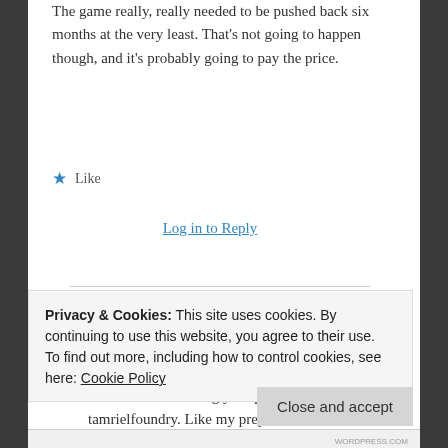The game really, really needed to be pushed back six months at the very least. That's not going to happen though, and it's probably going to pay the price.
★ Like
Log in to Reply
Tom   March 24, 2014 at 2:15 am
I have been following your posts on tamrielfoundry. Like my preposter I
Privacy & Cookies: This site uses cookies. By continuing to use this website, you agree to their use. To find out more, including how to control cookies, see here: Cookie Policy
Close and accept